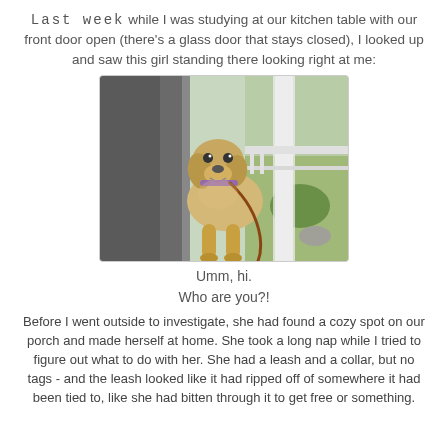Last week while I was studying at our kitchen table with our front door open (there's a glass door that stays closed), I looked up and saw this girl standing there looking right at me:
[Figure (photo): A yellow Labrador Retriever dog standing at a front door/porch, wearing a leash, looking directly at the camera. The background shows a porch with white railings and green outdoor scenery.]
Umm, hi.
Who are you?!
Before I went outside to investigate, she had found a cozy spot on our porch and made herself at home. She took a long nap while I tried to figure out what to do with her. She had a leash and a collar, but no tags - and the leash looked like it had ripped off of somewhere it had been tied to, like she had bitten through it to get free or something.